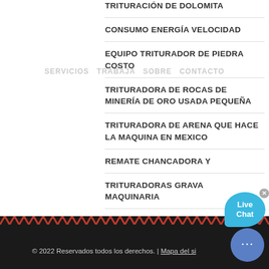TRITURACIÓN DE DOLOMITA
CONSUMO ENERGÍA VELOCIDAD
EQUIPO TRITURADOR DE PIEDRA COSTO
TRITURADORA DE ROCAS DE MINERÍA DE ORO USADA PEQUEÑA
TRITURADORA DE ARENA QUE HACE LA MAQUINA EN MEXICO
REMATE CHANCADORA Y
TRITURADORAS GRAVA MAQUINARIA
ARTICULOS RURALES AGUADA
COLOR:
Naranja
Azul
Amarillo
[Figure (other): Live Chat bubble widget with teal speech bubble icon]
© 2022 Reservados todos los derechos. | Mapa del si...